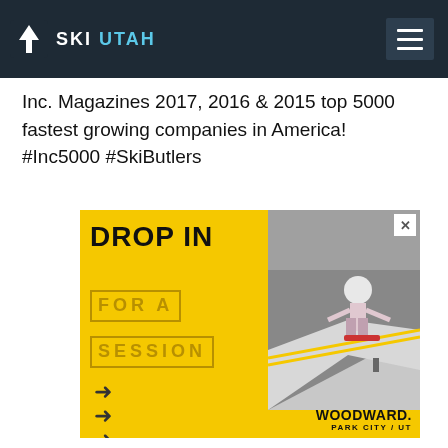SKI UTAH
Inc. Magazines 2017, 2016 & 2015 top 5000 fastest growing companies in America! #Inc5000 #SkiButlers
[Figure (illustration): Woodward Park City / UT advertisement banner with yellow background showing 'DROP IN FOR A SESSION' text and skateboarder photo]